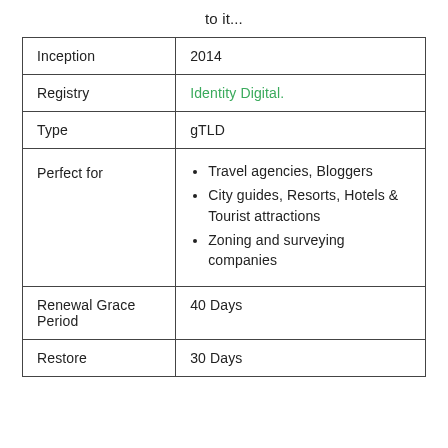to it...
| Inception | 2014 |
| Registry | Identity Digital. |
| Type | gTLD |
| Perfect for | Travel agencies, Bloggers
City guides, Resorts, Hotels & Tourist attractions
Zoning and surveying companies |
| Renewal Grace Period | 40 Days |
| Restore | 30 Days |